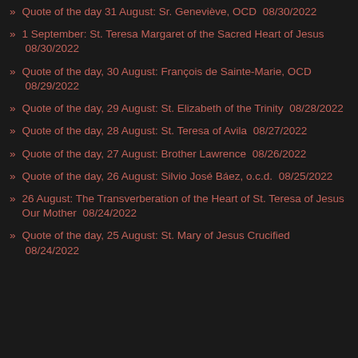Quote of the day 31 August: Sr. Geneviève, OCD  08/30/2022
1 September: St. Teresa Margaret of the Sacred Heart of Jesus  08/30/2022
Quote of the day, 30 August: François de Sainte-Marie, OCD  08/29/2022
Quote of the day, 29 August: St. Elizabeth of the Trinity  08/28/2022
Quote of the day, 28 August: St. Teresa of Avila  08/27/2022
Quote of the day, 27 August: Brother Lawrence  08/26/2022
Quote of the day, 26 August: Silvio José Báez, o.c.d.  08/25/2022
26 August: The Transverberation of the Heart of St. Teresa of Jesus Our Mother  08/24/2022
Quote of the day, 25 August: St. Mary of Jesus Crucified  08/24/2022